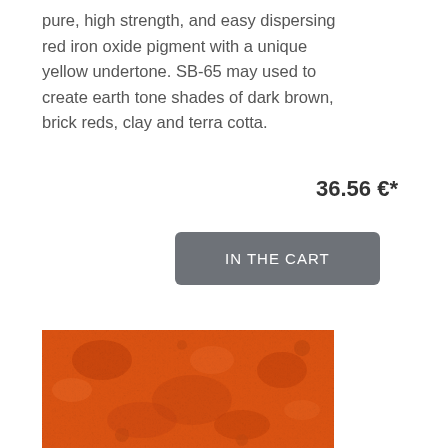pure, high strength, and easy dispersing red iron oxide pigment with a unique yellow undertone. SB-65 may used to create earth tone shades of dark brown, brick reds, clay and terra cotta.
36.56 €*
IN THE CART
[Figure (photo): Close-up photo of orange-red iron oxide pigment powder with a rough textured surface and small clumps visible.]